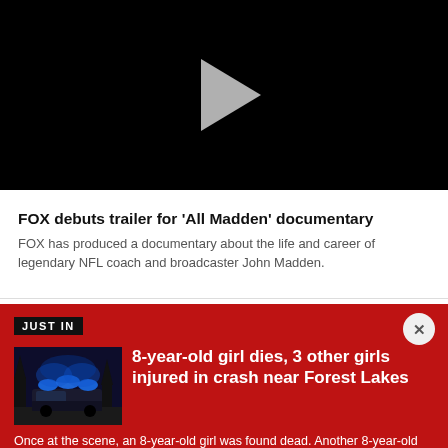[Figure (screenshot): Black video player with gray play button triangle in the center]
FOX debuts trailer for 'All Madden' documentary
FOX has produced a documentary about the life and career of legendary NFL coach and broadcaster John Madden.
JUST IN
[Figure (photo): Police car with blue flashing lights at night, trees in background]
8-year-old girl dies, 3 other girls injured in crash near Forest Lakes
Once at the scene, an 8-year-old girl was found dead. Another 8-year-old girl and two 14-year-old girls were airlifted to Phoenix Children's for treatment. Their current condition is unknown.